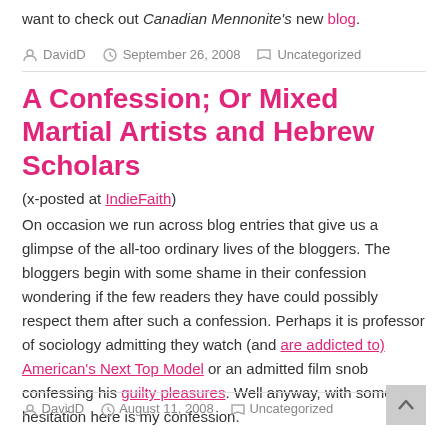want to check out Canadian Mennonite's new blog.
DavidD  September 26, 2008  Uncategorized
A Confession; Or Mixed Martial Artists and Hebrew Scholars
(x-posted at IndieFaith)
On occasion we run across blog entries that give us a glimpse of the all-too ordinary lives of the bloggers. The bloggers begin with some shame in their confession wondering if the few readers they have could possibly respect them after such a confession. Perhaps it is professor of sociology admitting they watch (and are addicted to) American's Next Top Model or an admitted film snob confessing his guilty pleasures. Well anyway, with some hesitation here is my confession.
DavidD  August 11, 2008  Uncategorized